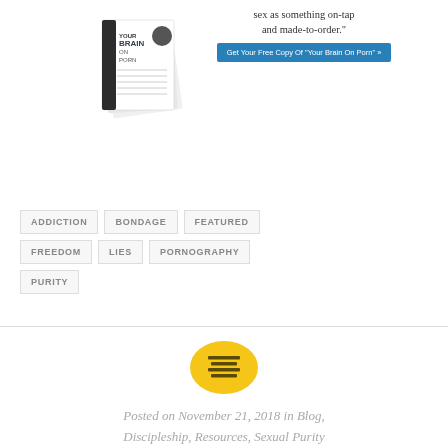[Figure (illustration): Book cover image for 'Your Brain On Porn' alongside promotional text and a blue call-to-action button reading 'Get Your Free Copy Of "Your Brain On Porn" »']
ADDICTION
BONDAGE
FEATURED
FREEDOM
LIES
PORNOGRAPHY
PURITY
[Figure (logo): Yellow circle icon with horizontal lines (text/article icon)]
Posted on November 21, 2018 in Blog, Discipleship, Resources, Sexual Purity